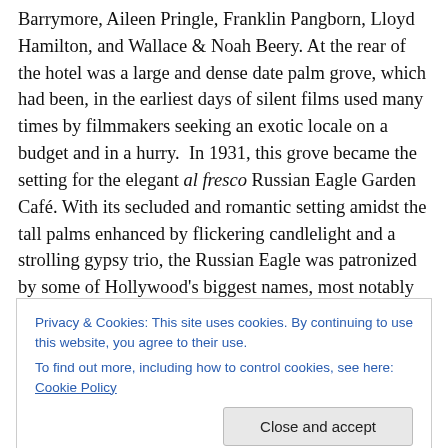Barrymore, Aileen Pringle, Franklin Pangborn, Lloyd Hamilton, and Wallace & Noah Beery. At the rear of the hotel was a large and dense date palm grove, which had been, in the earliest days of silent films used many times by filmmakers seeking an exotic locale on a budget and in a hurry.  In 1931, this grove became the setting for the elegant al fresco Russian Eagle Garden Café. With its secluded and romantic setting amidst the tall palms enhanced by flickering candlelight and a strolling gypsy trio, the Russian Eagle was patronized by some of Hollywood's biggest names, most notably the reclusive
Privacy & Cookies: This site uses cookies. By continuing to use this website, you agree to their use.
To find out more, including how to control cookies, see here: Cookie Policy
[Close and accept]